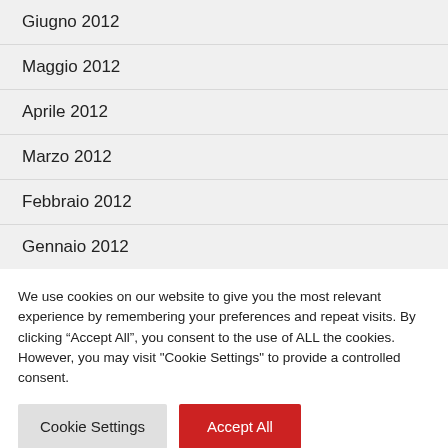Giugno 2012
Maggio 2012
Aprile 2012
Marzo 2012
Febbraio 2012
Gennaio 2012
We use cookies on our website to give you the most relevant experience by remembering your preferences and repeat visits. By clicking “Accept All”, you consent to the use of ALL the cookies. However, you may visit "Cookie Settings" to provide a controlled consent.
Cookie Settings | Accept All